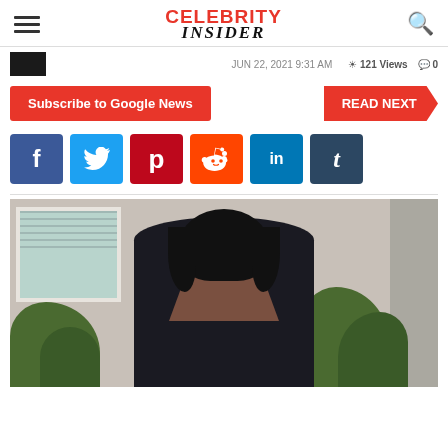Celebrity Insider
JUN 22, 2021 9:31 AM
121 Views  0
Subscribe to Google News
READ NEXT
[Figure (screenshot): Social media share buttons: Facebook (blue), Twitter (light blue), Pinterest (red), Reddit (orange-red), LinkedIn (blue), Tumblr (dark blue)]
[Figure (photo): Woman with curly black hair wearing a deep-V dark swimsuit/dress, standing outdoors in front of a house with windows and trees/plants in the background]